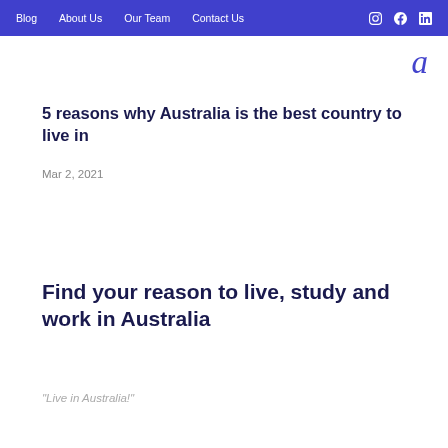Blog  About Us  Our Team  Contact Us
[Figure (logo): Lowercase italic letter 'a' in purple/blue color serving as site logo]
5 reasons why Australia is the best country to live in
Mar 2, 2021
Find your reason to live, study and work in Australia
“Live in Australia!”